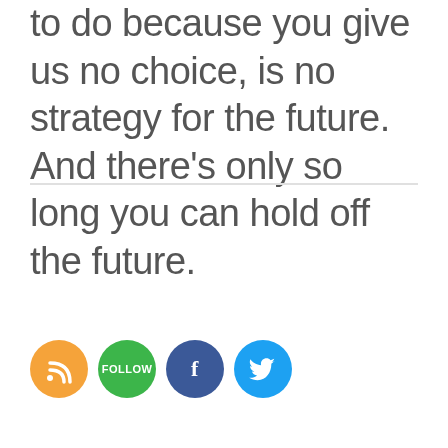to do because you give us no choice, is no strategy for the future. And there's only so long you can hold off the future.
[Figure (illustration): Four social media icon circles: RSS (orange), Follow (green), Facebook (dark blue), Twitter (light blue)]